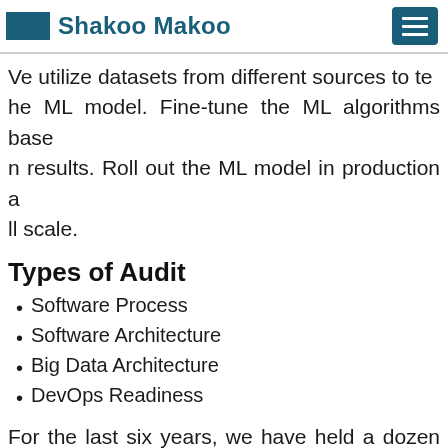Shakoo Makoo
Ve utilize datasets from different sources to te he ML model. Fine-tune the ML algorithms base n results. Roll out the ML model in production a ll scale.
Types of Audit
Software Process
Software Architecture
Big Data Architecture
DevOps Readiness
For the last six years, we have held a dozen of audits that helped our clients become better, improving the way they work and overcome the competition.